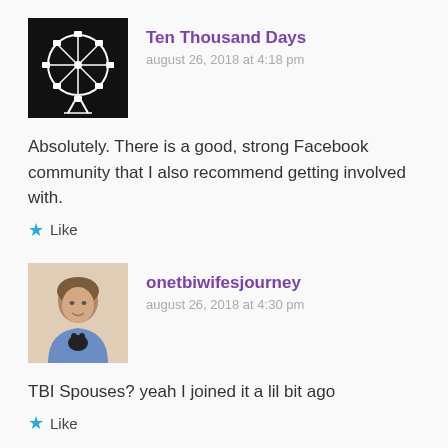Ten Thousand Days
august 26, 2018 at 4:18 pm
Absolutely. There is a good, strong Facebook community that I also recommend getting involved with.
Like
onetbiwifesjourney
august 26, 2018 at 4:30 pm
TBI Spouses? yeah I joined it a lil bit ago
Like